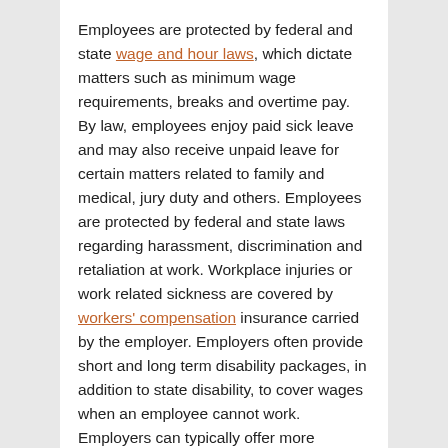Employees are protected by federal and state wage and hour laws, which dictate matters such as minimum wage requirements, breaks and overtime pay. By law, employees enjoy paid sick leave and may also receive unpaid leave for certain matters related to family and medical, jury duty and others. Employees are protected by federal and state laws regarding harassment, discrimination and retaliation at work. Workplace injuries or work related sickness are covered by workers' compensation insurance carried by the employer. Employers often provide short and long term disability packages, in addition to state disability, to cover wages when an employee cannot work. Employers can typically offer more affordable group health insurance coverage for individuals and their families.
Independent contractors control their hours and